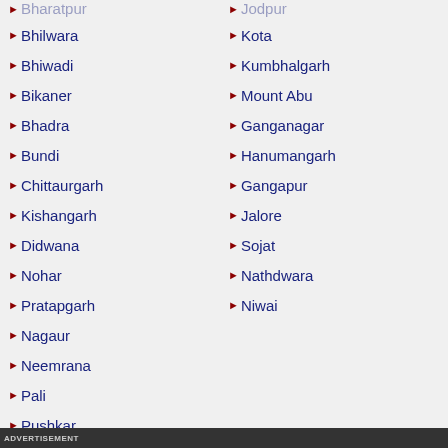Bhilwara
Bhiwadi
Bikaner
Bhadra
Bundi
Chittaurgarh
Kishangarh
Didwana
Nohar
Pratapgarh
Nagaur
Neemrana
Pali
Pushkar
Kota
Kumbhalgarh
Mount Abu
Ganganagar
Hanumangarh
Gangapur
Jalore
Sojat
Nathdwara
Niwai
ADVERTISEMENT